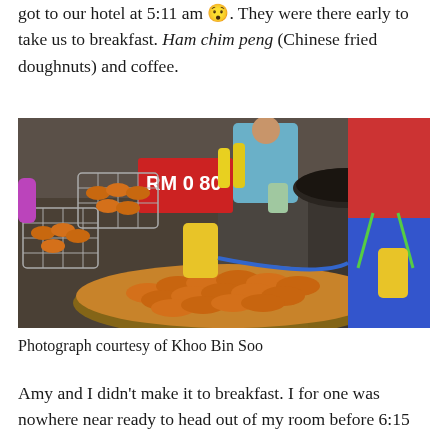got to our hotel at 5:11 am 😯. They were there early to take us to breakfast. Ham chim peng (Chinese fried doughnuts) and coffee.
[Figure (photo): Street food stall showing a large round metal tray filled with Chinese fried doughnuts (ham chim peng), with wire baskets and cooking equipment, and two people working at the stall. A sign reads 'RM 0 80'.]
Photograph courtesy of Khoo Bin Soo
Amy and I didn't make it to breakfast. I for one was nowhere near ready to head out of my room before 6:15